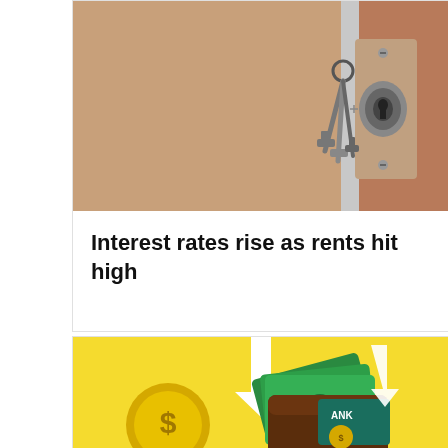[Figure (photo): Photo of keys in a door lock with a metallic lock cylinder, warm brown tones]
Interest rates rise as rents hit high
[Figure (illustration): Yellow background illustration showing a brown wallet with green dollar bills, white upward arrows, a gold coin with dollar sign, and a bank card labeled BANK — representing rising interest rates and financial themes]